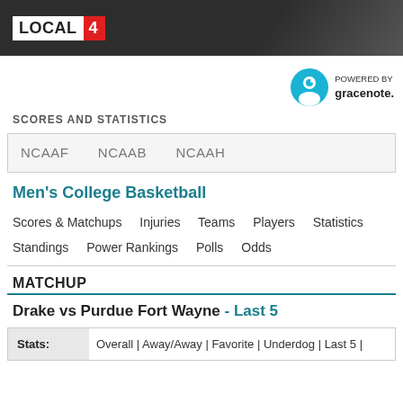LOCAL 4
[Figure (logo): Gracenote powered by logo with teal circle icon]
SCORES AND STATISTICS
NCAAF   NCAAB   NCAAH
Men's College Basketball
Scores & Matchups   Injuries   Teams   Players   Statistics   Standings   Power Rankings   Polls   Odds
MATCHUP
Drake vs Purdue Fort Wayne - Last 5
| Stats: |  |
| --- | --- |
| Stats: | Overall | Away/Away | Favorite | Underdog | Last 5 | |